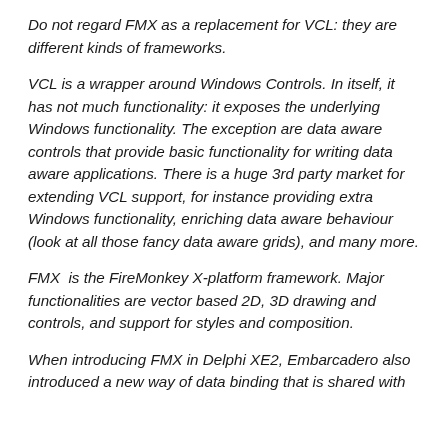Do not regard FMX as a replacement for VCL: they are different kinds of frameworks.
VCL is a wrapper around Windows Controls. In itself, it has not much functionality: it exposes the underlying Windows functionality. The exception are data aware controls that provide basic functionality for writing data aware applications. There is a huge 3rd party market for extending VCL support, for instance providing extra Windows functionality, enriching data aware behaviour (look at all those fancy data aware grids), and many more.
FMX  is the FireMonkey X-platform framework. Major functionalities are vector based 2D, 3D drawing and controls, and support for styles and composition.
When introducing FMX in Delphi XE2, Embarcadero also introduced a new way of data binding that is shared with